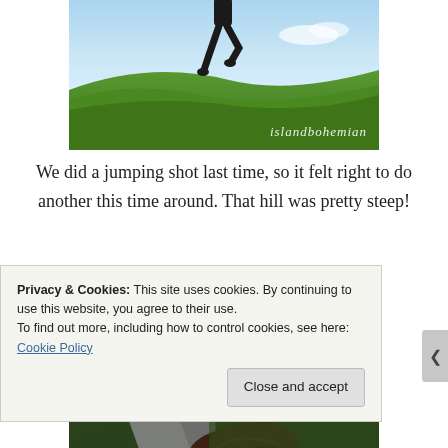[Figure (photo): Person jumping in the air over a grassy hill with blue sky background. Watermark text 'islandbohemian' in cursive at bottom right.]
We did a jumping shot last time, so it felt right to do another this time around. That hill was pretty steep!
[Figure (photo): Close-up photo of a person partially hidden behind a large curved surface (possibly a skateboard or similar object), showing hair and top of head. Background shows trees.]
Privacy & Cookies: This site uses cookies. By continuing to use this website, you agree to their use.
To find out more, including how to control cookies, see here: Cookie Policy
Close and accept